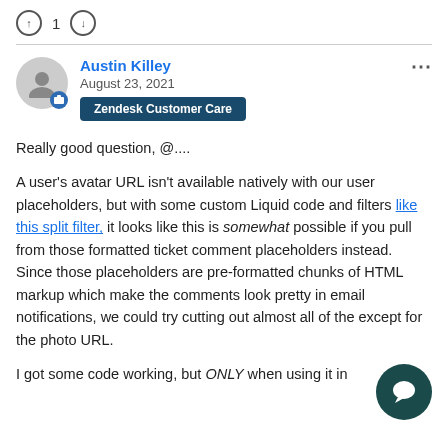[Figure (other): Vote up icon (circle with up arrow), number 1, vote down icon (circle with down arrow)]
Austin Killey
August 23, 2021
Zendesk Customer Care
Really good question, @....
A user's avatar URL isn't available natively with our user placeholders, but with some custom Liquid code and filters like this split filter, it looks like this is somewhat possible if you pull from those formatted ticket comment placeholders instead. Since those placeholders are pre-formatted chunks of HTML markup which make the comments look pretty in email notifications, we could try cutting out almost all of the except for the photo URL.
I got some code working, but ONLY when using it in